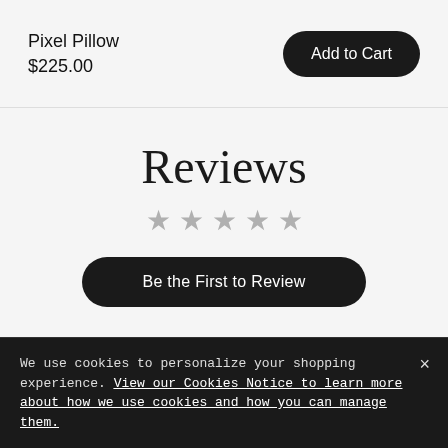Pixel Pillow
$225.00
Add to Cart
Reviews
[Figure (other): Five empty star rating icons in gray]
Be the First to Review
We're here to help
[Figure (other): Camera icon in a dark circle, top right of dark section]
We use cookies to personalize your shopping experience. View our Cookies Notice to learn more about how we use cookies and how you can manage them.